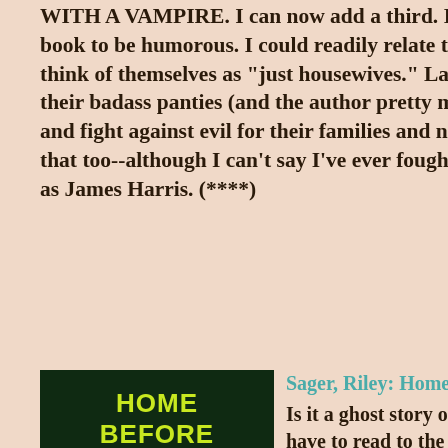WITH A VAMPIRE. I can now add a third. I found the beginning of this book to be humorous. I could readily relate to this group of ladies who think of themselves as "just housewives." Later on, when they put on their badass panties (and the author pretty much dropped the humor) and fight against evil for their families and neighbors, I could relate to that too--although I can't say I've ever fought anything as gross and evil as James Harris. (****)
[Figure (photo): Book cover of 'Home Before Dark' by Riley Sager, showing a dark green haunted house image with glowing elements]
Sager, Riley: Home Before Dark: A Novel
Is it a ghost story or a murder mystery? You'll have to read to the end to find out. When I began reading, I thought it was going to be an Amityville Horror knockoff, but I was wrong. Good read. Exciting page turner. Note: The title